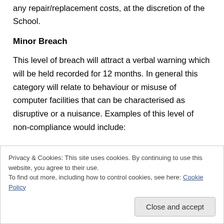any repair/replacement costs, at the discretion of the School.
Minor Breach
This level of breach will attract a verbal warning which will be held recorded for 12 months. In general this category will relate to behaviour or misuse of computer facilities that can be characterised as disruptive or a nuisance. Examples of this level of non-compliance would include:
Privacy & Cookies: This site uses cookies. By continuing to use this website, you agree to their use.
To find out more, including how to control cookies, see here: Cookie Policy
Close and accept